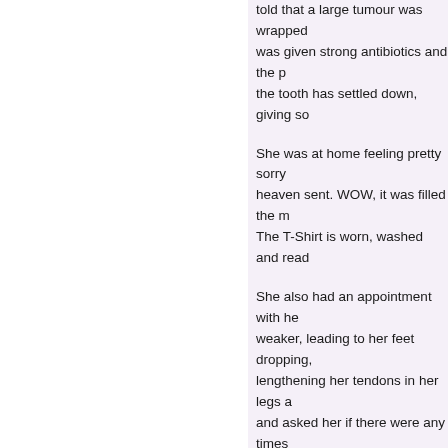told that a large tumour was wrapped… was given strong antibiotics and the p… the tooth has settled down, giving so…
She was at home feeling pretty sorry … heaven sent. WOW, it was filled the m… The T-Shirt is worn, washed and read…
She also had an appointment with he… weaker, leading to her feet dropping, … lengthening her tendons in her legs a… and asked her if there were any times… She told him she would be 'free' from…
Thank you to everyone who has sent … but Anna is in bed, so I can't ask. She… her school uniform. She has a pile of … cylinders for the past few weeks. Be p…
Update 28th November 2009
Hello everyone, thank you for all the k… Germany. To Kim … yes yours was th… just don't seem to have enough time i…